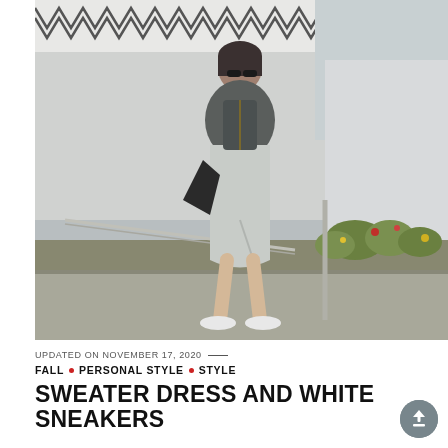[Figure (photo): Street style photo of a woman wearing a light grey sweater dress, dark leather jacket, white sneakers, carrying a black tote bag, walking outdoors in front of a modern architectural building with a decorative zigzag pattern on the facade and flowering shrubs in the background.]
UPDATED ON NOVEMBER 17, 2020 —
FALL • PERSONAL STYLE • STYLE
SWEATER DRESS AND WHITE SNEAKERS